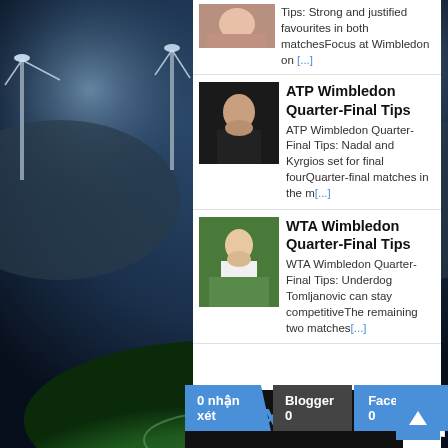[Figure (screenshot): Sports betting website screenshot showing tennis articles and navigation tabs on a stadium background]
Tips: Strong and justified favourites in both matchesFocus at Wimbledon on [...]
ATP Wimbledon Quarter-Final Tips
ATP Wimbledon Quarter-Final Tips: Nadal and Kyrgios set for final fourQuarter-final matches in the m[...]
WTA Wimbledon Quarter-Final Tips
WTA Wimbledon Quarter-Final Tips: Underdog Tomljanovic can stay competitiveThe remaining two matches[...]
0 nhận xét
Blogger 0
Facebook 0
[Figure (logo): 1XBET sports betting logo in white on dark background]